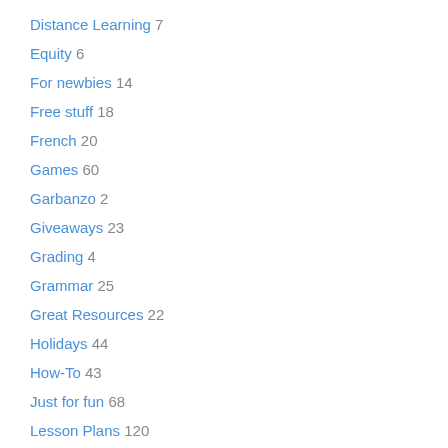Distance Learning 7
Equity 6
For newbies 14
Free stuff 18
French 20
Games 60
Garbanzo 2
Giveaways 23
Grading 4
Grammar 25
Great Resources 22
Holidays 44
How-To 43
Just for fun 68
Lesson Plans 120
Listening 16